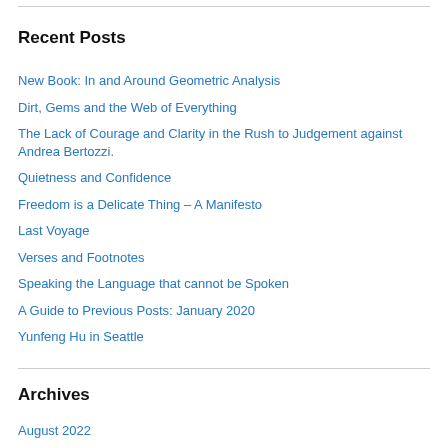Recent Posts
New Book: In and Around Geometric Analysis
Dirt, Gems and the Web of Everything
The Lack of Courage and Clarity in the Rush to Judgement against Andrea Bertozzi.
Quietness and Confidence
Freedom is a Delicate Thing – A Manifesto
Last Voyage
Verses and Footnotes
Speaking the Language that cannot be Spoken
A Guide to Previous Posts: January 2020
Yunfeng Hu in Seattle
Archives
August 2022